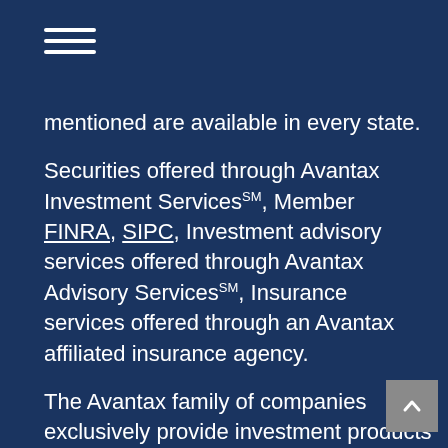hamburger menu icon
mentioned are available in every state.
Securities offered through Avantax Investment ServicesSM, Member FINRA, SIPC, Investment advisory services offered through Avantax Advisory ServicesSM, Insurance services offered through an Avantax affiliated insurance agency.
The Avantax family of companies exclusively provide investment products and services through its representatives. Although Avantax Wealth ManagementSM does not provide tax or legal advice, or supervise tax, accounting or legal services, Avantax representatives may offer these services through their independent outside